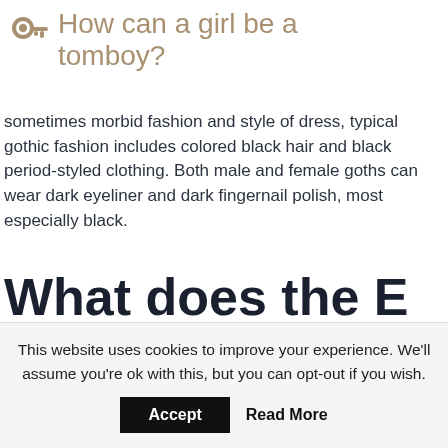How can a girl be a tomboy?
sometimes morbid fashion and style of dress, typical gothic fashion includes colored black hair and black period-styled clothing. Both male and female goths can wear dark eyeliner and dark fingernail polish, most especially black.
What does the E stand for in e-girl?
This website uses cookies to improve your experience. We'll assume you're ok with this, but you can opt-out if you wish.